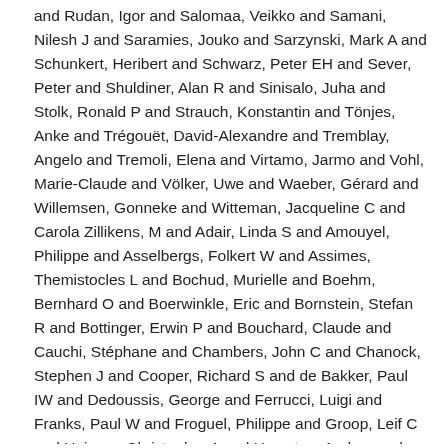and Rudan, Igor and Salomaa, Veikko and Samani, Nilesh J and Saramies, Jouko and Sarzynski, Mark A and Schunkert, Heribert and Schwarz, Peter EH and Sever, Peter and Shuldiner, Alan R and Sinisalo, Juha and Stolk, Ronald P and Strauch, Konstantin and Tönjes, Anke and Trégouët, David-Alexandre and Tremblay, Angelo and Tremoli, Elena and Virtamo, Jarmo and Vohl, Marie-Claude and Völker, Uwe and Waeber, Gérard and Willemsen, Gonneke and Witteman, Jacqueline C and Carola Zillikens, M and Adair, Linda S and Amouyel, Philippe and Asselbergs, Folkert W and Assimes, Themistocles L and Bochud, Murielle and Boehm, Bernhard O and Boerwinkle, Eric and Bornstein, Stefan R and Bottinger, Erwin P and Bouchard, Claude and Cauchi, Stéphane and Chambers, John C and Chanock, Stephen J and Cooper, Richard S and de Bakker, Paul IW and Dedoussis, George and Ferrucci, Luigi and Franks, Paul W and Froguel, Philippe and Groop, Leif C and Haiman, Christopher A and Hamsten, Anders and Hui, Jennie and Hunter, David J and Hveem, Kristian and Kaplan, Robert C and Kivimaki, Mika and Kuh, Diana and Laakso, Markku and Liu, Yongmei and Martin, Nicholas G and März, Winfried and Melbye, Mads and Metspalu, Andres and Moebus, Susanne and Munroe, Patricia B and Njølstad, Inger and Oostra, Ben A and Palmer, Colin NA and Pedersen,